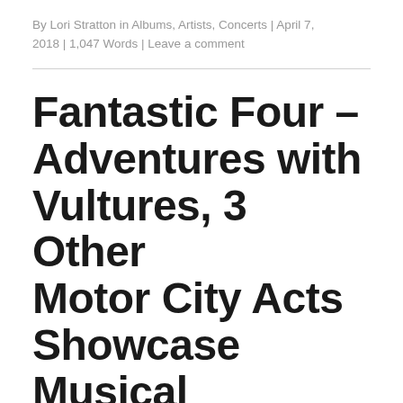By Lori Stratton in Albums, Artists, Concerts | April 7, 2018 | 1,047 Words | Leave a comment
Fantastic Four – Adventures with Vultures, 3 Other Motor City Acts Showcase Musical Prowess at The Blind Pig